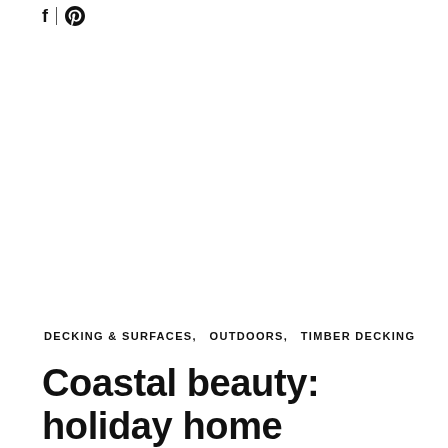f | [pinterest icon]
DECKING & SURFACES,  OUTDOORS,  TIMBER DECKING
Coastal beauty: holiday home decking